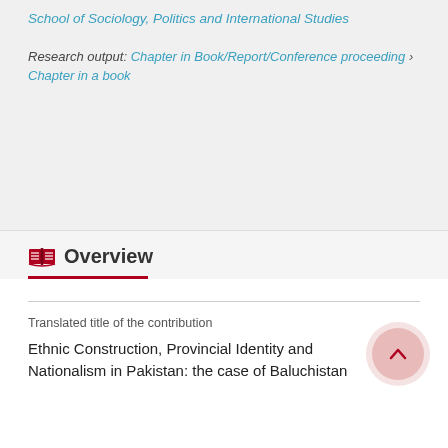School of Sociology, Politics and International Studies
Research output: Chapter in Book/Report/Conference proceeding › Chapter in a book
Overview
Translated title of the contribution
Ethnic Construction, Provincial Identity and Nationalism in Pakistan: the case of Baluchistan